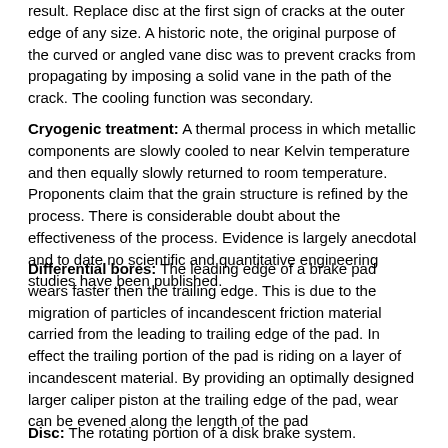result. Replace disc at the first sign of cracks at the outer edge of any size. A historic note, the original purpose of the curved or angled vane disc was to prevent cracks from propagating by imposing a solid vane in the path of the crack. The cooling function was secondary.
Cryogenic treatment: A thermal process in which metallic components are slowly cooled to near Kelvin temperature and then equally slowly returned to room temperature. Proponents claim that the grain structure is refined by the process. There is considerable doubt about the effectiveness of the process. Evidence is largely anecdotal and to date no scientific and quantitative engineering studies have been published.
Differential bores: The leading edge of a brake pad wears faster then the trailing edge. This is due to the migration of particles of incandescent friction material carried from the leading to trailing edge of the pad. In effect the trailing portion of the pad is riding on a layer of incandescent material. By providing an optimally designed larger caliper piston at the trailing edge of the pad, wear can be evened along the length of the pad
Disc: The rotating portion of a disk brake system. Mechanically attached